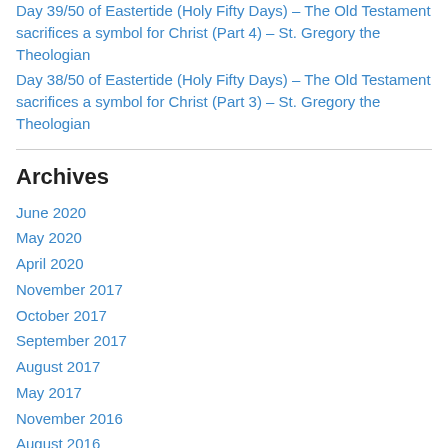Day 39/50 of Eastertide (Holy Fifty Days) – The Old Testament sacrifices a symbol for Christ (Part 4) – St. Gregory the Theologian
Day 38/50 of Eastertide (Holy Fifty Days) – The Old Testament sacrifices a symbol for Christ (Part 3) – St. Gregory the Theologian
Archives
June 2020
May 2020
April 2020
November 2017
October 2017
September 2017
August 2017
May 2017
November 2016
August 2016
May 2016
April 2016